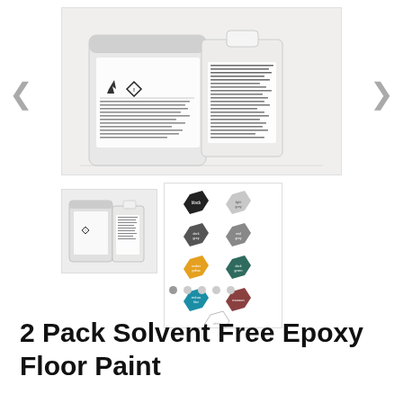[Figure (photo): Product photo showing two containers: a large white cylindrical tub with hazard warning labels (including GHS diamond and exclamation mark symbols) and a smaller white HDPE jug with handle, both labeled for 2 Pack Solvent Free Epoxy Floor Paint, placed on a white surface.]
[Figure (photo): Thumbnail of the same two containers — large white tub and small white jug with product labels.]
[Figure (illustration): Color swatch chart showing 9 hexagonal color tiles: black, light grey, dark grey, mid grey, yellow/amber, dark teal/green, teal/cyan, dark red/maroon, and white (outline only), each with a small text label.]
2 Pack Solvent Free Epoxy Floor Paint